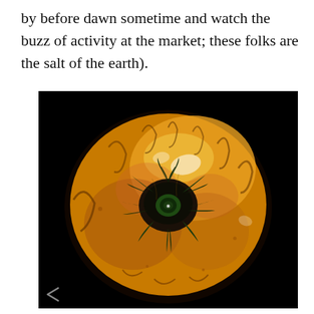by before dawn sometime and watch the buzz of activity at the market; these folks are the salt of the earth).
[Figure (photo): Top-down close-up photograph of a large heirloom tomato, yellow-orange in color with ribbed lobes and a dark green star-shaped calyx/stem in the center, set against a black background.]